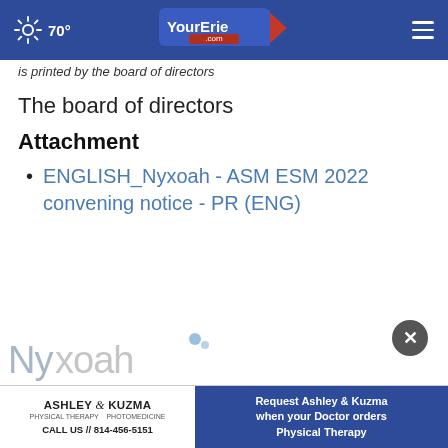YourErie.com — 70° navigation bar
is printed by the board of directors
The board of directors
Attachment
ENGLISH_Nyxoah - ASM ESM 2022 convening notice - PR (ENG)
[Figure (logo): Nyxoah company logo, partial view at bottom of page]
[Figure (screenshot): Ashley & Kuzma Physical Therapy Photomedicine advertisement banner. Text: Request Ashley & Kuzma when your Doctor orders Physical Therapy. CALL US // 814-456-5151]